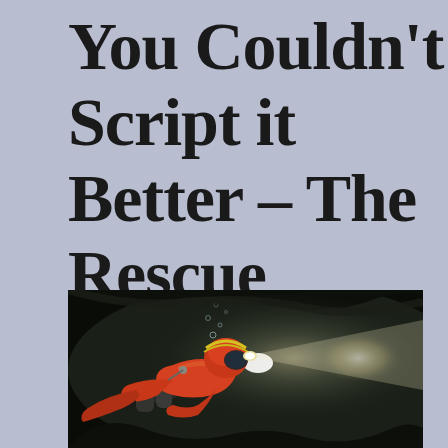You Couldn't Script it Better – The Rescue
[Figure (photo): Underwater photograph of a scuba diver in dark water, wearing an orange and black drysuit with a yellow-trimmed helmet and a bright dive light illuminating a cave or tunnel passage.]